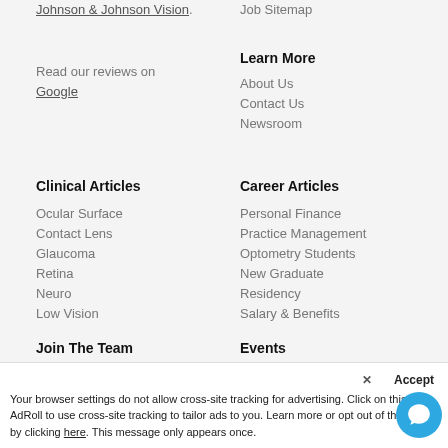Johnson & Johnson Vision.
Read our reviews on Google
Job Sitemap
Learn More
About Us
Contact Us
Newsroom
Clinical Articles
Career Articles
Ocular Surface
Personal Finance
Contact Lens
Practice Management
Glaucoma
Optometry Students
Retina
New Graduate
Neuro
Residency
Low Vision
Salary & Benefits
Join The Team
Events
Careers
Event schedule
Editorial Board
Your browser settings do not allow cross-site tracking for advertising. Click on this AdRoll to use cross-site tracking to tailor ads to you. Learn more or opt out of this A ng by clicking here. This message only appears once.